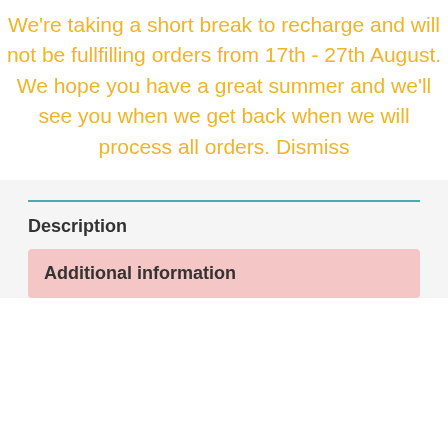We're taking a short break to recharge and will not be fullfilling orders from 17th - 27th August. We hope you have a great summer and we'll see you when we get back when we will process all orders. Dismiss
Description
Additional information